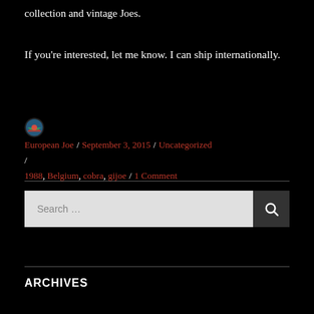collection and vintage Joes.
If you're interested, let me know. I can ship internationally.
European Joe / September 3, 2015 / Uncategorized / 1988, Belgium, cobra, gijoe / 1 Comment
Search ...
ARCHIVES